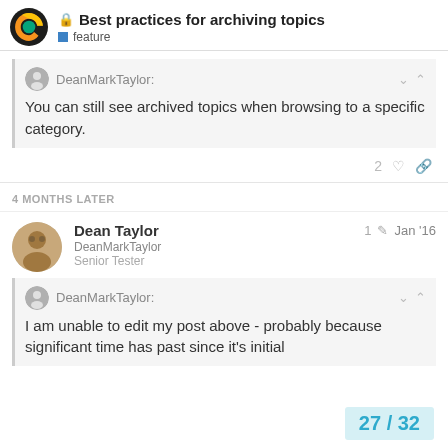Best practices for archiving topics | feature
DeanMarkTaylor: You can still see archived topics when browsing to a specific category.
2
4 MONTHS LATER
Dean Taylor DeanMarkTaylor Senior Tester | 1 Jan '16
DeanMarkTaylor: I am unable to edit my post above - probably because significant time has past since it's initial
27 / 32